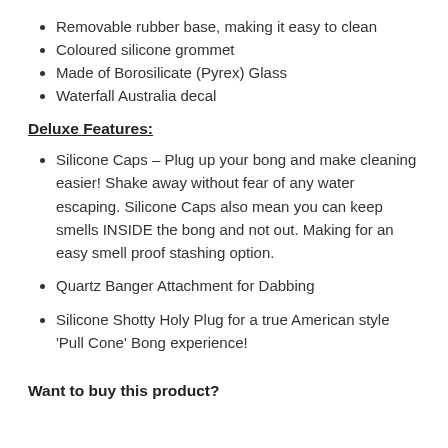Removable rubber base, making it easy to clean
Coloured silicone grommet
Made of Borosilicate (Pyrex) Glass
Waterfall Australia decal
Deluxe Features:
Silicone Caps – Plug up your bong and make cleaning easier! Shake away without fear of any water escaping. Silicone Caps also mean you can keep smells INSIDE the bong and not out. Making for an easy smell proof stashing option.
Quartz Banger Attachment for Dabbing
Silicone Shotty Holy Plug for a true American style 'Pull Cone' Bong experience!
Want to buy this product?